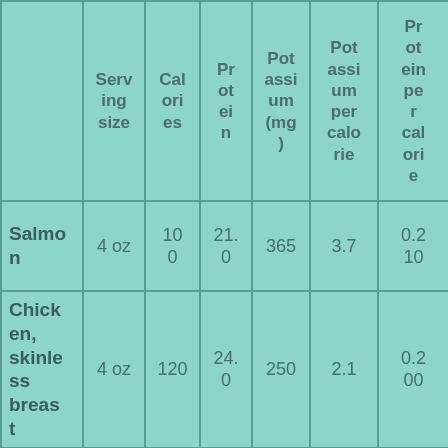|  | Serving size | Calories | Protein | Potassium (mg) | Potassium per calorie | Protein per calorie |
| --- | --- | --- | --- | --- | --- | --- |
| Salmon | 4 oz | 100 | 21.0 | 365 | 3.7 | 0.210 |
| Chicken, skinless breast | 4 oz | 120 | 24.0 | 250 | 2.1 | 0.200 |